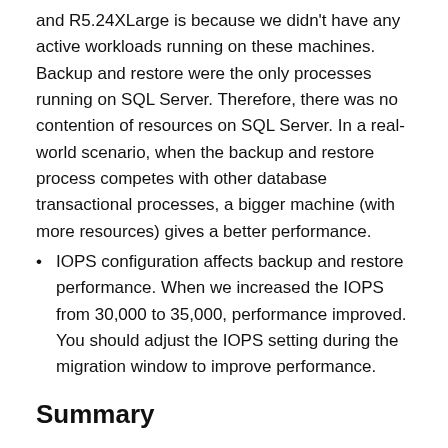and R5.24XLarge is because we didn't have any active workloads running on these machines. Backup and restore were the only processes running on SQL Server. Therefore, there was no contention of resources on SQL Server. In a real-world scenario, when the backup and restore process competes with other database transactional processes, a bigger machine (with more resources) gives a better performance.
IOPS configuration affects backup and restore performance. When we increased the IOPS from 30,000 to 35,000, performance improved. You should adjust the IOPS setting during the migration window to improve performance.
Summary
If you're looking for ways to improve backup and restore time for your large databases, the results and the observations in this post should help you form a good strategy. The post lists some of the tools and techniques to reduce time taken for backup and restore of large databases. More importantly, it can help you get an